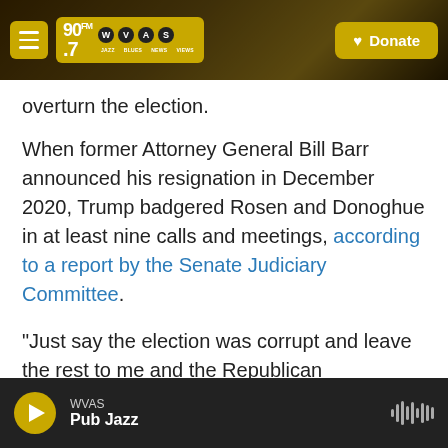[Figure (screenshot): WVAS 90.7 FM radio station navigation bar with hamburger menu, logo, and yellow Donate button on dark background]
overturn the election.
When former Attorney General Bill Barr announced his resignation in December 2020, Trump badgered Rosen and Donoghue in at least nine calls and meetings, according to a report by the Senate Judiciary Committee.
"Just say the election was corrupt and leave the rest to me and the Republican congressmen," Trump told the two men, according to their testimony.
[Figure (screenshot): WVAS radio player bar at bottom showing play button, WVAS station name, Pub Jazz show name, and waveform icon]